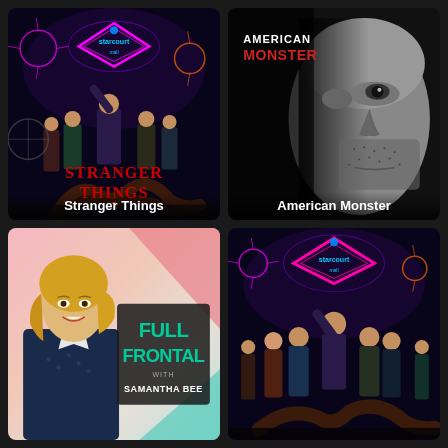[Figure (photo): Stranger Things Season 3 promotional poster with colorful neon starcourt mall sign, characters, and monster]
Stranger Things
[Figure (photo): American Monster true crime show poster showing close-up black and white face of a man]
American Monster
[Figure (photo): Full Frontal with Samantha Bee show poster with host Samantha Bee on left and teal Full Frontal logo on right]
[Figure (photo): Stranger Things Season 3 promotional poster with neon starcourt mall sign and characters]